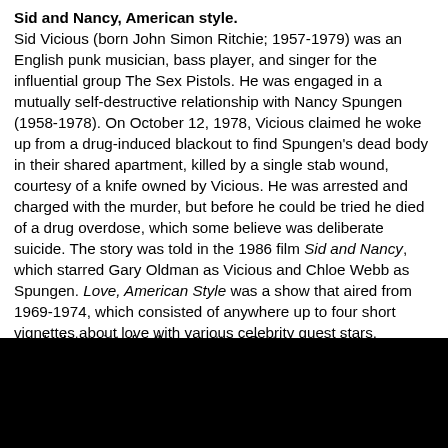Sid and Nancy, American style. Sid Vicious (born John Simon Ritchie; 1957-1979) was an English punk musician, bass player, and singer for the influential group The Sex Pistols. He was engaged in a mutually self-destructive relationship with Nancy Spungen (1958-1978). On October 12, 1978, Vicious claimed he woke up from a drug-induced blackout to find Spungen's dead body in their shared apartment, killed by a single stab wound, courtesy of a knife owned by Vicious. He was arrested and charged with the murder, but before he could be tried he died of a drug overdose, which some believe was deliberate suicide. The story was told in the 1986 film Sid and Nancy, which starred Gary Oldman as Vicious and Chloe Webb as Spungen. Love, American Style was a show that aired from 1969-1974, which consisted of anywhere up to four short vignettes about love with various celebrity guest stars. Produced by Aaron Spelling, the series often used pieces of used pilot scripts for the vignettes. On two occasions, [text cut off]
[Figure (photo): Black silhouettes of audience heads at the bottom of the image, obscuring the lower portion of the text.]